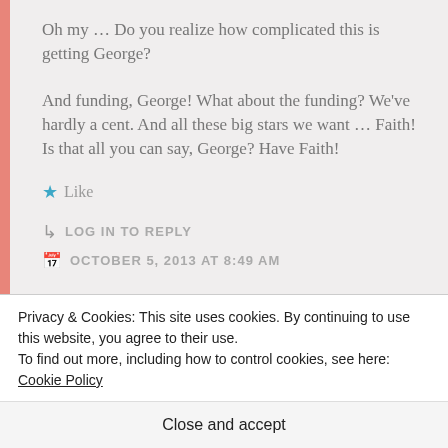Oh my … Do you realize how complicated this is getting George?

And funding, George! What about the funding? We've hardly a cent. And all these big stars we want … Faith! Is that all you can say, George? Have Faith!
★ Like
↳ LOG IN TO REPLY
OCTOBER 5, 2013 AT 8:49 AM
Privacy & Cookies: This site uses cookies. By continuing to use this website, you agree to their use.
To find out more, including how to control cookies, see here: Cookie Policy
Close and accept